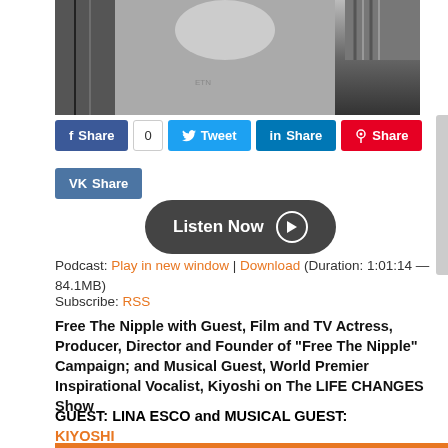[Figure (photo): Black and white photo of a person in leather jacket, showing neck/chest area with tattoos]
f Share  0  Tweet  in Share  Share  VK Share
[Figure (other): Listen Now button with play icon]
Podcast: Play in new window | Download (Duration: 1:01:14 — 84.1MB)
Subscribe: RSS
Free The Nipple with Guest, Film and TV Actress, Producer, Director and Founder of “Free The Nipple” Campaign; and Musical Guest, World Premier Inspirational Vocalist, Kiyoshi on The LIFE CHANGES Show
GUEST: LINA ESCO and MUSICAL GUEST: KIYOSHI